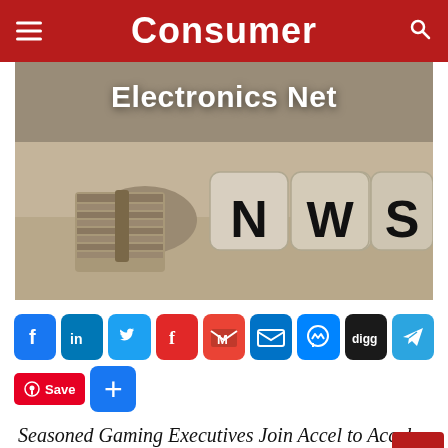Consumer
[Figure (photo): Sepia-toned photo of rolled newspaper next to letter dice spelling NEWS, with overlay text 'Electronics Net']
[Figure (infographic): Row of social media share buttons: Facebook, LinkedIn, Twitter, Flipboard, Gmail, Email, Messenger, Digg, Telegram, Add (+), Pinterest Save]
Seasoned Gaming Executives Join Accel to Accelerate Growth